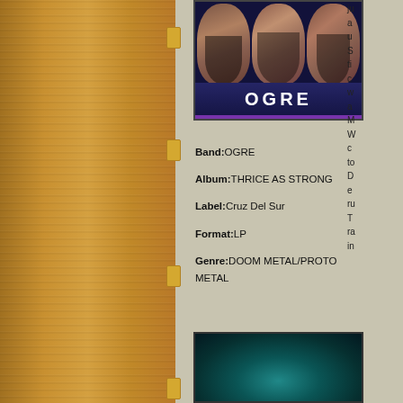[Figure (photo): Album cover for OGRE - Thrice As Strong. Three screaming faces on dark blue background with OGRE text in white on dark blue bar at bottom, purple stripe accent.]
Band:OGRE
Album:THRICE AS STRONG
Label:Cruz Del Sur
Format:LP
Genre:DOOM METAL/PROTO METAL
ju a u S ti c w a M W c to D e ru T ra in
[Figure (photo): Album cover partially visible at bottom - dark teal/blue-green atmospheric image.]